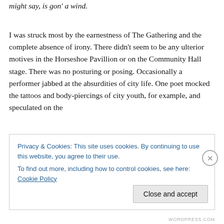might say, is gon' a wind.
I was struck most by the earnestness of The Gathering and the complete absence of irony. There didn't seem to be any ulterior motives in the Horseshoe Pavillion or on the Community Hall stage. There was no posturing or posing. Occasionally a performer jabbed at the absurdities of city life. One poet mocked the tattoos and body-piercings of city youth, for example, and speculated on the
Privacy & Cookies: This site uses cookies. By continuing to use this website, you agree to their use.
To find out more, including how to control cookies, see here: Cookie Policy
Close and accept
WORDPRESS.COM